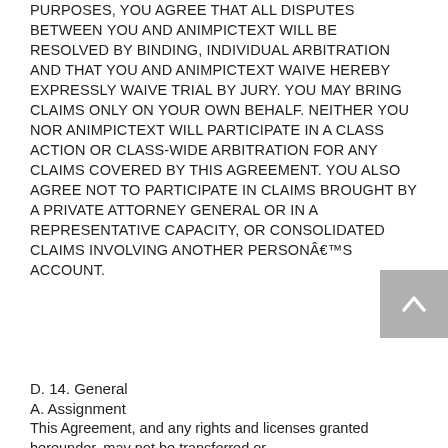PURPOSES, YOU AGREE THAT ALL DISPUTES BETWEEN YOU AND ANIMPICTEXT WILL BE RESOLVED BY BINDING, INDIVIDUAL ARBITRATION AND THAT YOU AND ANIMPICTEXT WAIVE HEREBY EXPRESSLY WAIVE TRIAL BY JURY. YOU MAY BRING CLAIMS ONLY ON YOUR OWN BEHALF. NEITHER YOU NOR ANIMPICTEXT WILL PARTICIPATE IN A CLASS ACTION OR CLASS-WIDE ARBITRATION FOR ANY CLAIMS COVERED BY THIS AGREEMENT. YOU ALSO AGREE NOT TO PARTICIPATE IN CLAIMS BROUGHT BY A PRIVATE ATTORNEY GENERAL OR IN A REPRESENTATIVE CAPACITY, OR CONSOLIDATED CLAIMS INVOLVING ANOTHER PERSONâ€™S ACCOUNT.
D.  14.  General
A.  Assignment
This Agreement, and any rights and licenses granted hereunder, may not be transferred or